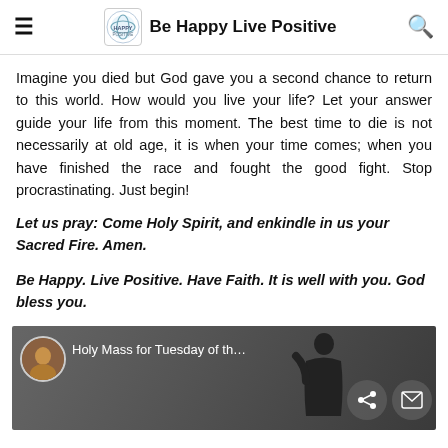Be Happy Live Positive
Imagine you died but God gave you a second chance to return to this world. How would you live your life? Let your answer guide your life from this moment. The best time to die is not necessarily at old age, it is when your time comes; when you have finished the race and fought the good fight. Stop procrastinating. Just begin!
Let us pray: Come Holy Spirit, and enkindle in us your Sacred Fire. Amen.
Be Happy. Live Positive. Have Faith. It is well with you. God bless you.
[Figure (screenshot): Video thumbnail for Holy Mass for Tuesday of the week, with a priest avatar, share and email icons overlaid.]